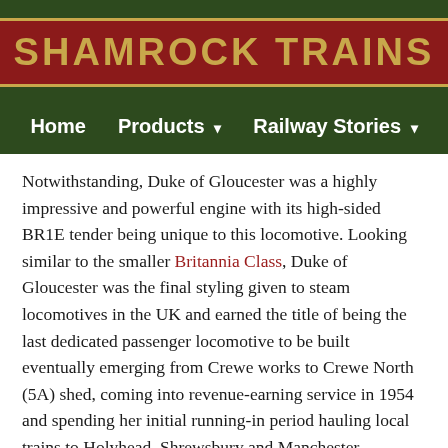[Figure (logo): Shamrock Trains logo — dark green background with red box containing gold text 'SHAMROCK TRAINS' with gold border]
Home   Products ▾   Railway Stories ▾
Notwithstanding, Duke of Gloucester was a highly impressive and powerful engine with its high-sided BR1E tender being unique to this locomotive. Looking similar to the smaller Britannia Class, Duke of Gloucester was the final styling given to steam locomotives in the UK and earned the title of being the last dedicated passenger locomotive to be built eventually emerging from Crewe works to Crewe North (5A) shed, coming into revenue-earning service in 1954 and spending her initial running-in period hauling local trains to Holyhead, Shrewsbury and Manchester.
Despite the mixed reputation the Duke acquired, she was a frequent WCML performer in the 1950s